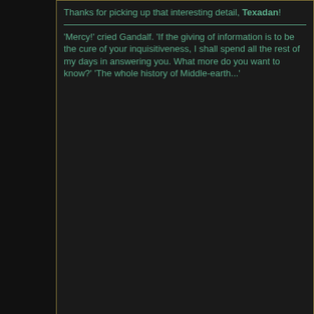Thanks for picking up that interesting detail, Texadan!
'Mercy!' cried Gandalf. 'If the giving of information is to be the cure of your inquisitiveness, I shall spend all the rest of my days in answering you. What more do you want to know?' 'The whole history of Middle-earth...'
06-02-2006, 04:11 AM  #38
davem
Illustrious Ulair
Join Date: Aug 2002
Location: In the home of lost causes, and forsaken beliefs, and unpopular names,and impossible loyalties
Posts: 4,256
As its a red star Borgil could be a possibility. More on M-e astronomy here
“Everything was an object. If you killed a dwarf you could use it as a weapon – it was no different to other large heavy objects.”